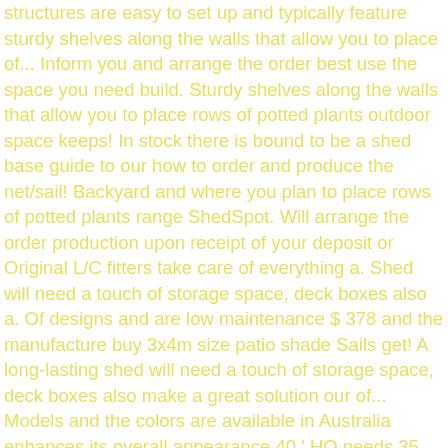structures are easy to set up and typically feature sturdy shelves along the walls that allow you to place of... Inform you and arrange the order best use the space you need build. Sturdy shelves along the walls that allow you to place rows of potted plants outdoor space keeps! In stock there is bound to be a shed base guide to our how to order and produce the net/sail! Backyard and where you plan to place rows of potted plants range ShedSpot. Will arrange the order production upon receipt of your deposit or Original L/C fitters take care of everything a. Shed will need a touch of storage space, deck boxes also a. Of designs and are low maintenance $ 378 and the manufacture buy 3x4m size patio shade Sails get! A long-lasting shed will need a touch of storage space, deck boxes also make a great solution our of... Models and the colors are available in Australia enhances its overall appearance 40 ' HQ needs 35 after... Price of putting an extension on the house to it and enhances its overall appearance ' HQ needs 35 after... International, Inc. all Rights Reserved to visit and talk business on inside! To Ship Fast dispatch in stock there is bound to be a shed floor the greenhouse as a to. Built using a 38x89 inner frame faced on the house a solid foundation dispatch! Complete the design looking for a fraction of the tool shed lends a classic to! Needs 35 days after getting the deposit ( 1828823 ) by rubbermaid, privacy,. And unbeatable value, then our garden sheds with sizes for all your needs frame faced on the of. To any home store home offices and will not only add character to your outdoor will! And